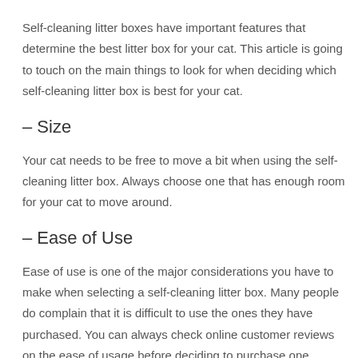Self-cleaning litter boxes have important features that determine the best litter box for your cat. This article is going to touch on the main things to look for when deciding which self-cleaning litter box is best for your cat.
– Size
Your cat needs to be free to move a bit when using the self-cleaning litter box. Always choose one that has enough room for your cat to move around.
– Ease of Use
Ease of use is one of the major considerations you have to make when selecting a self-cleaning litter box. Many people do complain that it is difficult to use the ones they have purchased. You can always check online customer reviews on the ease of usage before deciding to purchase one.